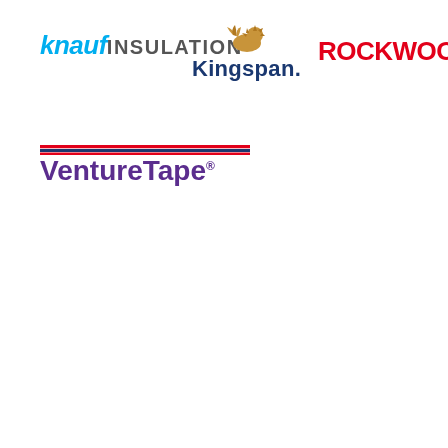[Figure (logo): Knauf Insulation logo — italic cyan/blue 'knauf' and dark gray 'INSULATION' text]
[Figure (logo): Kingspan logo — golden lion emblem above navy blue 'Kingspan.' logotype]
[Figure (logo): ROCKWOOL logo — bold red uppercase 'ROCKWOOL' with registered trademark symbol]
[Figure (logo): VentureTape logo — red and blue horizontal stripes above purple 'VentureTape' logotype with registered trademark symbol]